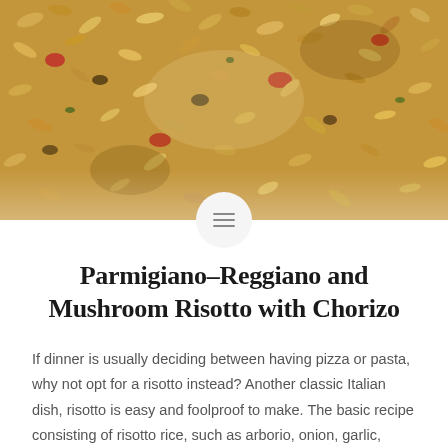[Figure (photo): Close-up overhead photo of risotto with vegetables including red peppers, mushrooms, and herbs mixed with rice grains]
Parmigiano–Reggiano and Mushroom Risotto with Chorizo
If dinner is usually deciding between having pizza or pasta, why not opt for a risotto instead? Another classic Italian dish, risotto is easy and foolproof to make. The basic recipe consisting of risotto rice, such as arborio, onion, garlic, broth, white wine, butter, and parmesan can be altered by adding an array of further…
READ MORE